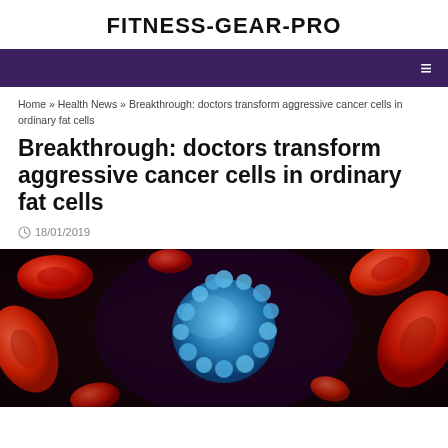FITNESS-GEAR-PRO
≡ (navigation menu icon)
Home » Health News » Breakthrough: doctors transform aggressive cancer cells in ordinary fat cells
Breakthrough: doctors transform aggressive cancer cells in ordinary fat cells
18/01/2019
[Figure (photo): Microscopic illustration of a blue cancer cell surrounded by red blood cells]